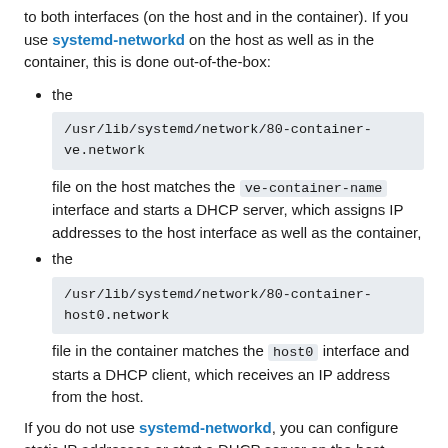to both interfaces (on the host and in the container). If you use systemd-networkd on the host as well as in the container, this is done out-of-the-box:
the /usr/lib/systemd/network/80-container-ve.network file on the host matches the ve-container-name interface and starts a DHCP server, which assigns IP addresses to the host interface as well as the container,
the /usr/lib/systemd/network/80-container-host0.network file in the container matches the host0 interface and starts a DHCP client, which receives an IP address from the host.
If you do not use systemd-networkd, you can configure static IP addresses or start a DHCP server on the host interface and a DHCP client in the container. See Network configuration for details.
To give the container access to the outside network, you can configure masquerading by...